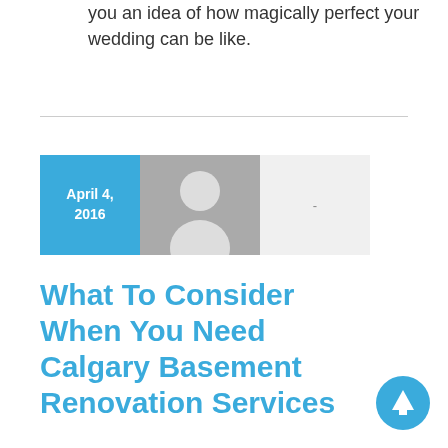you an idea of how magically perfect your wedding can be like.
[Figure (other): Blog post card with blue date box showing April 4, 2016, a grey avatar placeholder image, and a light grey info area with a dash]
What To Consider When You Need Calgary Basement Renovation Services